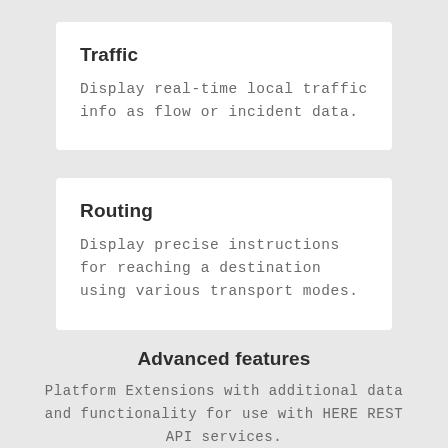Traffic
Display real-time local traffic info as flow or incident data.
Routing
Display precise instructions for reaching a destination using various transport modes.
Advanced features
Platform Extensions with additional data and functionality for use with HERE REST API services.